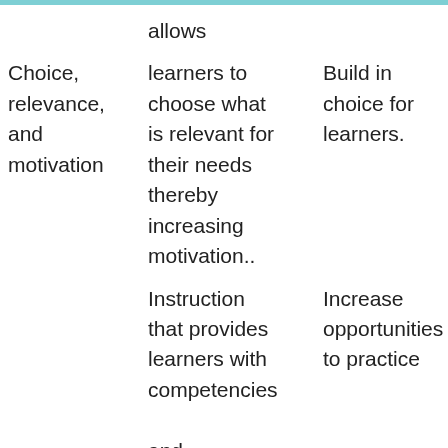|  | allows |  |
| Choice, relevance, and motivation | learners to choose what is relevant for their needs thereby increasing motivation.. | Build in choice for learners. |
|  | Instruction that provides learners with competencies and confidence they need to | Increase opportunities to practice |
| Practice Engagement |  |  |